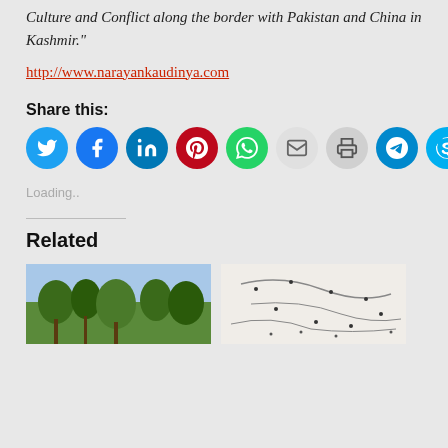image from my long-term photographic novel "A Study of Culture and Conflict along the border with Pakistan and China in Kashmir."
http://www.narayankaudinya.com
Share this:
[Figure (infographic): Row of social media share icons: Twitter (blue), Facebook (dark blue), LinkedIn (dark blue), Pinterest (red), WhatsApp (green), Email (grey), Print (grey), Telegram (blue), Skype (cyan blue)]
Loading..
Related
[Figure (photo): Thumbnail photo of trees and sky]
[Figure (photo): Thumbnail image of map or illustration with dots and lines]